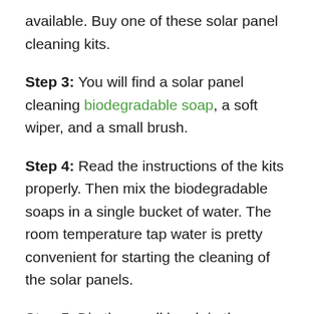available. Buy one of these solar panel cleaning kits.
Step 3: You will find a solar panel cleaning biodegradable soap, a soft wiper, and a small brush.
Step 4: Read the instructions of the kits properly. Then mix the biodegradable soaps in a single bucket of water. The room temperature tap water is pretty convenient for starting the cleaning of the solar panels.
Step 5: Dip the small brush in the bucket and start to clean the solar panels. Do not be harsh on the cleaning process. It will be better if you start to clean the panels with small strokes.
Step 6: You can easily clean all the loose dirt particles